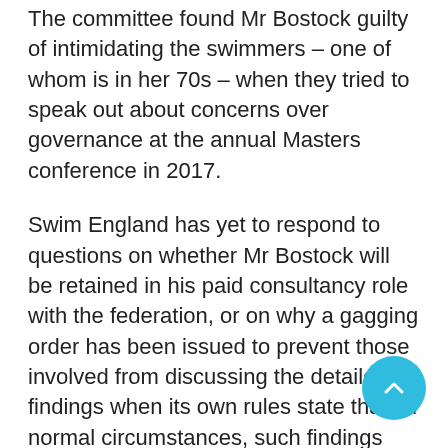The committee found Mr Bostock guilty of intimidating the swimmers – one of whom is in her 70s – when they tried to speak out about concerns over governance at the annual Masters conference in 2017.
Swim England has yet to respond to questions on whether Mr Bostock will be retained in his paid consultancy role with the federation, or on why a gagging order has been issued to prevent those involved from discussing the detailed findings when its own rules state that, in normal circumstances, such findings would be made public.
Censored
The complaints arose after Bostock – at that time Chairman of the Sport Governing Board – appeared at the annual Swim England Masters conference to quash swimmers' efforts to discuss their concerns